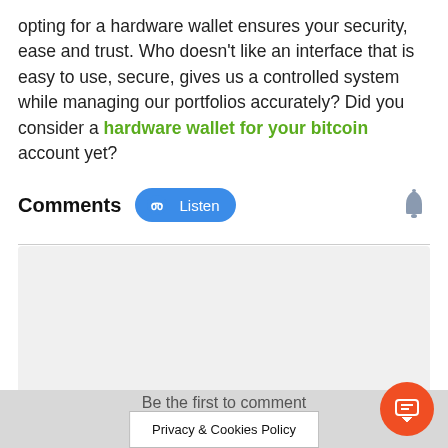opting for a hardware wallet ensures your security, ease and trust. Who doesn't like an interface that is easy to use, secure, gives us a controlled system while managing our portfolios accurately? Did you consider a hardware wallet for your bitcoin account yet?
Comments
[Figure (other): Listen audio button with headphone icon and blue pill-shaped button labeled Listen]
[Figure (other): Bell notification icon in gray]
[Figure (other): Gray empty comment text area/input box]
Be the first to comment
Privacy & Cookies Policy
[Figure (other): Orange floating action button with chat/comment icon]